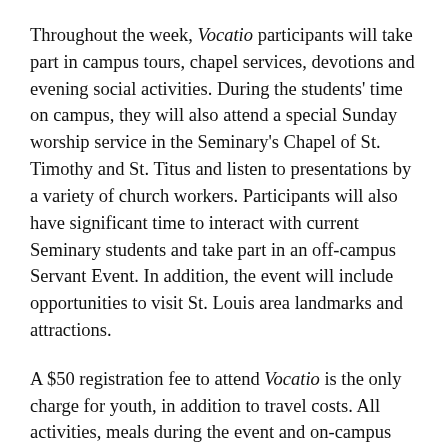Throughout the week, Vocatio participants will take part in campus tours, chapel services, devotions and evening social activities. During the students' time on campus, they will also attend a special Sunday worship service in the Seminary's Chapel of St. Timothy and St. Titus and listen to presentations by a variety of church workers. Participants will also have significant time to interact with current Seminary students and take part in an off-campus Servant Event. In addition, the event will include opportunities to visit St. Louis area landmarks and attractions.
A $50 registration fee to attend Vocatio is the only charge for youth, in addition to travel costs. All activities, meals during the event and on-campus lodging are provided at no cost to participants. Scholarships are available to ensure that travel costs do not prevent youth from